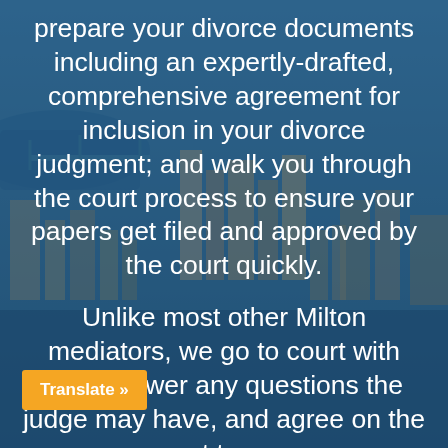[Figure (photo): Aerial view of a city (Milton/Boston area) with buildings, waterways, overlaid with a dark blue transparent overlay]
prepare your divorce documents including an expertly-drafted, comprehensive agreement for inclusion in your divorce judgment; and walk you through the court process to ensure your papers get filed and approved by the court quickly.
Unlike most other Milton mediators, we go to court with you, answer any questions the judge may have, and agree on the spot to any the judge wants to change.
Translate »